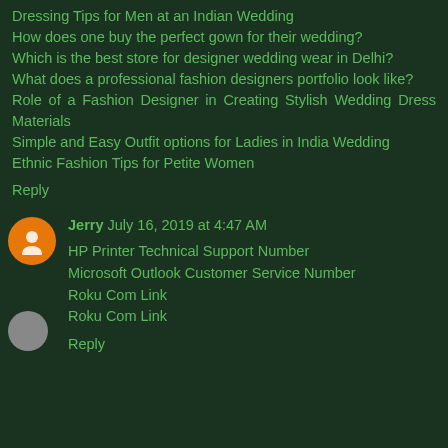Dressing Tips for Men at an Indian Wedding
How does one buy the perfect gown for their wedding?
Which is the best store for designer wedding wear in Delhi?
What does a professional fashion designers portfolio look like?
Role of a Fashion Designer in Creating Stylish Wedding Dress Materials
Simple and Easy Outfit options for Ladies in India Wedding
Ethnic Fashion Tips for Petite Women
Reply
Jerry  July 16, 2019 at 4:47 AM
HP Printer Technical Support Number
Microsoft Outlook Customer Service Number
Roku Com Link
Roku Com Link
Reply